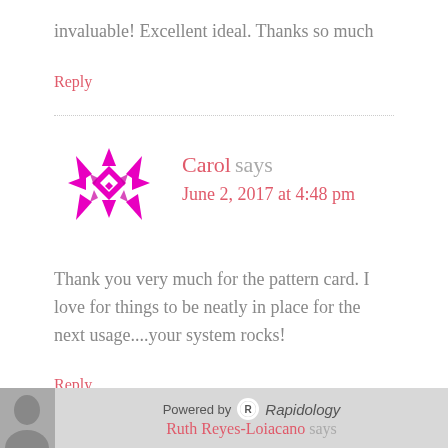invaluable! Excellent ideal. Thanks so much
Reply
[Figure (illustration): Decorative geometric pink snowflake/star avatar icon for commenter Carol]
Carol says
June 2, 2017 at 4:48 pm
Thank you very much for the pattern card. I love for things to be neatly in place for the next usage....your system rocks!
Reply
[Figure (photo): Footer bar with avatar photo of Ruth Reyes-Loiacano, 'Powered by Rapidology' branding, and 'Ruth Reyes-Loiacano says' text]